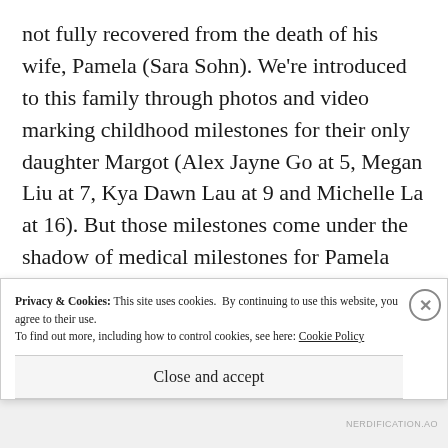not fully recovered from the death of his wife, Pamela (Sara Sohn). We're introduced to this family through photos and video marking childhood milestones for their only daughter Margot (Alex Jayne Go at 5, Megan Liu at 7, Kya Dawn Lau at 9 and Michelle La at 16). But those milestones come under the shadow of medical milestones for Pamela who suffers from lymphoma. Pamela dies, leaving David and Margot in mourning–living together but s[partially obscured]
Privacy & Cookies: This site uses cookies. By continuing to use this website, you agree to their use.
To find out more, including how to control cookies, see here: Cookie Policy
Close and accept